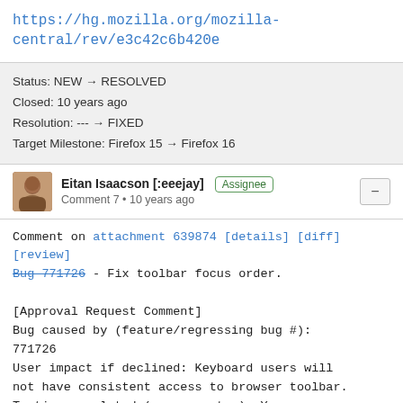https://hg.mozilla.org/mozilla-central/rev/e3c42c6b420e
Status: NEW → RESOLVED
Closed: 10 years ago
Resolution: --- → FIXED
Target Milestone: Firefox 15 → Firefox 16
Eitan Isaacson [:eeejay] Assignee
Comment 7 • 10 years ago
Comment on attachment 639874 [details] [diff] [review]
Bug 771726 - Fix toolbar focus order.

[Approval Request Comment]
Bug caused by (feature/regressing bug #): 771726
User impact if declined: Keyboard users will not have consistent access to browser toolbar.
Testing completed (on m-c, etc.): Yes